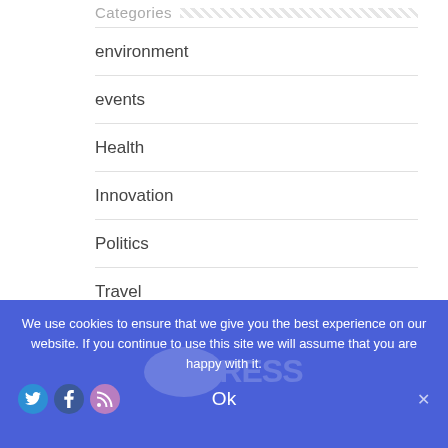Categories
environment
events
Health
Innovation
Politics
Travel
We use cookies to ensure that we give you the best experience on our website. If you continue to use this site we will assume that you are happy with it.
Ok